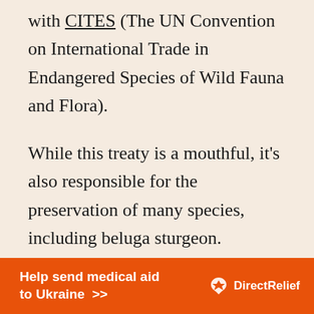with CITES (The UN Convention on International Trade in Endangered Species of Wild Fauna and Flora).
While this treaty is a mouthful, it's also responsible for the preservation of many species, including beluga sturgeon.
[Figure (infographic): Orange advertisement banner: 'Help send medical aid to Ukraine >>' with Direct Relief logo on the right]